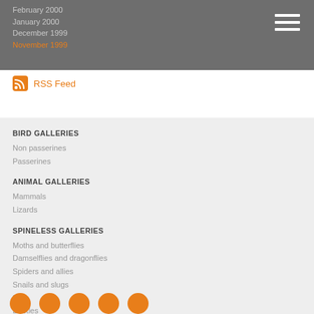November 1999
RSS Feed
BIRD GALLERIES
Non passerines
Passerines
ANIMAL GALLERIES
Mammals
Lizards
SPINELESS GALLERIES
Moths and butterflies
Damselflies and dragonflies
Spiders and allies
Snails and slugs
Flies
Beetles
SOCIAL